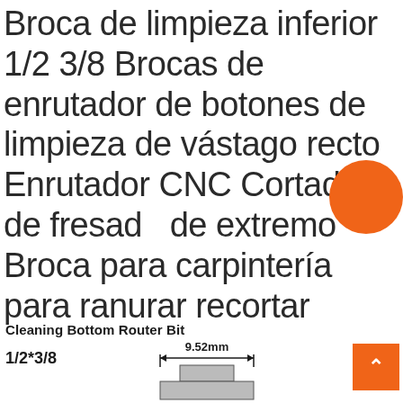Broca de limpieza inferior 1/2 3/8 Brocas de enrutador de botones de limpieza de vástago recto Enrutador CNC Cortador de fresado de extremo Broca para carpintería para ranurar recortar
[Figure (illustration): Orange circle decorative element overlapping the title text]
Cleaning Bottom Router Bit
1/2*3/8
[Figure (engineering-diagram): Technical diagram of a router bit showing 9.52mm dimension with arrow indicating width, and a cross-section view of the bit at the bottom]